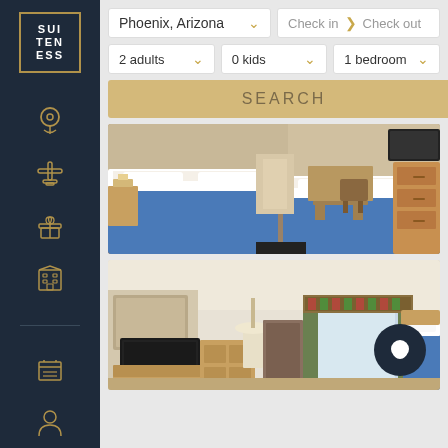[Figure (logo): Suiteness logo with gold border, white letters SUI / TEN / ESS in grid]
[Figure (infographic): Sidebar navigation icons: location pin, airport/transport, gift, building/hotel, calendar, person — rendered in gold on dark navy background]
Phoenix, Arizona
Check in  > Check out
2 adults
0 kids
1 bedroom
SEARCH
[Figure (photo): Hotel room with two double beds with blue bedding, wood furniture, dresser, and desk visible in background]
[Figure (photo): Hotel room with TV on wood furniture, mirror, window with curtains and decorative valance, and bed on right side]